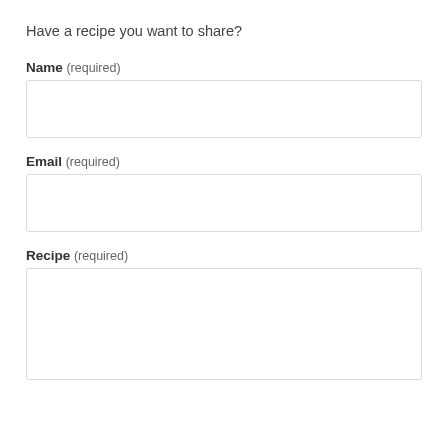Have a recipe you want to share?
Name (required)
Email (required)
Recipe (required)